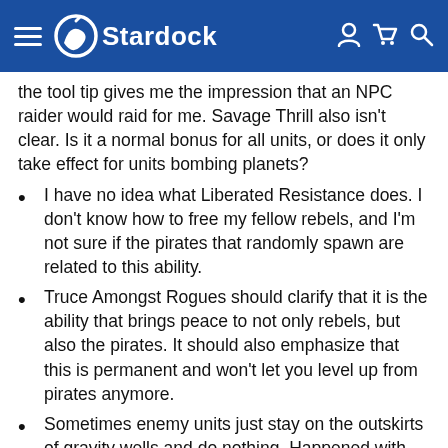Stardock
the tool tip gives me the impression that an NPC raider would raid for me. Savage Thrill also isn't clear. Is it a normal bonus for all units, or does it only take effect for units bombing planets?
I have no idea what Liberated Resistance does. I don't know how to free my fellow rebels, and I'm not sure if the pirates that randomly spawn are related to this ability.
Truce Amongst Rogues should clarify that it is the ability that brings peace to not only rebels, but also the pirates. It should also emphasize that this is permanent and won't let you level up from pirates anymore.
Sometimes enemy units just stay on the outskirts of gravity wells and do nothing. Happened with an enemy Protev on Point Blank one game.
Arcovas don't seem to autocast the Sensor Drones